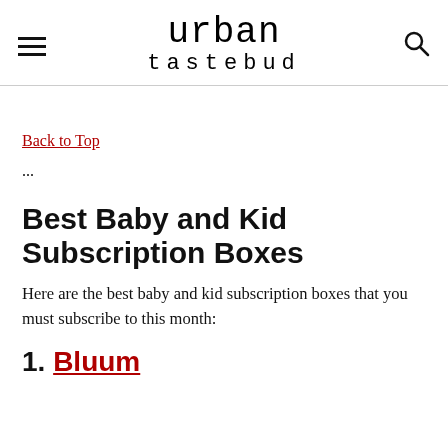urban tastebud
Back to Top
...
Best Baby and Kid Subscription Boxes
Here are the best baby and kid subscription boxes that you must subscribe to this month:
1. Bluum